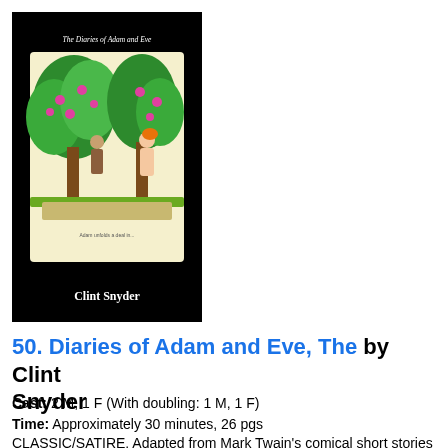[Figure (illustration): Book cover of 'The Diaries of Adam and Eve' by Clint Snyder. Black background with an illustrated scene showing two figures (Adam and Eve) near colorful green trees with pink/red fruit. Title in stylized script at top, author name 'Clint Snyder' at bottom in white text.]
50. Diaries of Adam and Eve, The by Clint Snyder
Cast: 2 M, 1 F (With doubling: 1 M, 1 F)
Time: Approximately 30 minutes, 26 pgs
CLASSIC/SATIRE. Adapted from Mark Twain’s comical short stories “Eve’s Diary” and “Extracts from Adam’s Diary.” In this hilarious retelling of the story of Adam